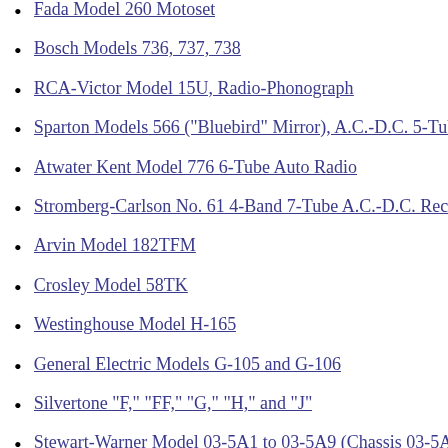Fada Model 260 Motoset
Bosch Models 736, 737, 738
RCA-Victor Model 15U, Radio-Phonograph
Sparton Models 566 ("Bluebird" Mirror), A.C.-D.C. 5-Tube
Atwater Kent Model 776 6-Tube Auto Radio
Stromberg-Carlson No. 61 4-Band 7-Tube A.C.-D.C. Rece
Arvin Model 182TFM
Crosley Model 58TK
Westinghouse Model H-165
General Electric Models G-105 and G-106
Silvertone "F," "FF," "G," "H," and "J"
Stewart-Warner Model 03-5A1 to 03-5A9 (Chassis 03-5A)